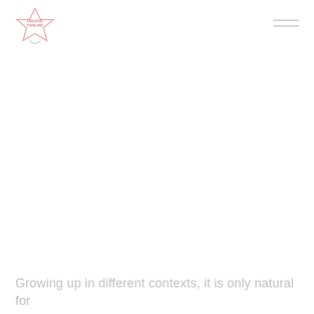[Figure (logo): Creative Thailand logo — a star-shaped figure with pink/red outline containing the text 'CREATIVE THAILAND' inside, with a small decorative element below]
[Figure (other): Hamburger menu icon — two horizontal grey lines in the top right corner]
Growing up in different contexts, it is only natural for